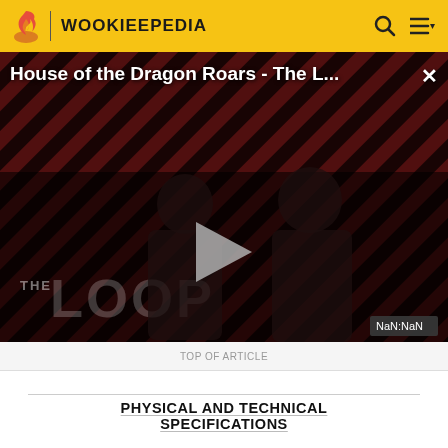WOOKIEEPEDIA
[Figure (screenshot): Video player showing 'House of the Dragon Roars - The L...' with THE LOOP branding, a play button in the center, two silhouette figures, and a NaN:NaN timestamp badge. Red and dark diagonal stripe background.]
House of the Dragon Roars - The L...
PHYSICAL AND TECHNICAL SPECIFICATIONS